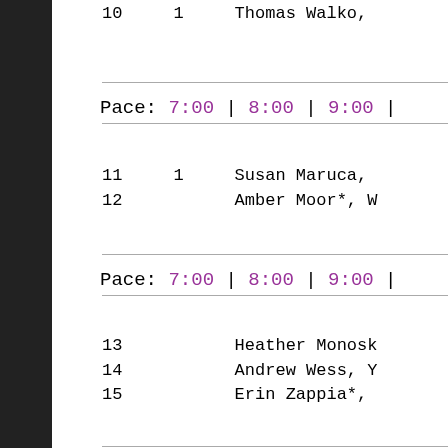10    1    Thomas Walko,
Pace:  7:00  |  8:00  |  9:00  |
11    1    Susan Maruca,
12         Amber Moor*, W
Pace:  7:00  |  8:00  |  9:00  |
13         Heather Monosk
14         Andrew Wess, Y
15         Erin Zappia*,
Pace:  7:00  |  8:00  |  9:00  |